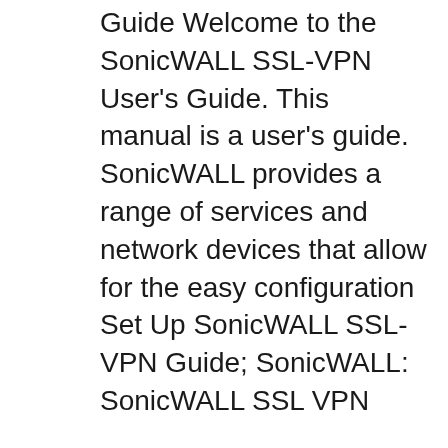Guide Welcome to the SonicWALL SSL-VPN User's Guide. This manual is a user's guide. SonicWALL provides a range of services and network devices that allow for the easy configuration Set Up SonicWALL SSL-VPN Guide; SonicWALL: SonicWALL SSL VPN
sonicwall ssl vpn setup guide Android VPN download, sonicwall ssl vpn setup guide safe VPN download (High-Speed VPN⚡) Whether you are talking security or user experience, properly configuring any VPN connection is essential. Here are the basic configuration steps you need to take
Summary The SonicWALL SSL-VPN 4000